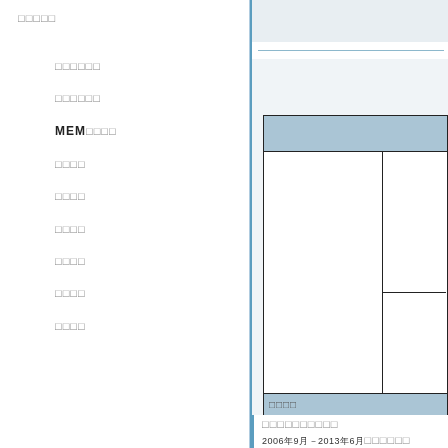□□□□□
□□□□□□
□□□□□□
MEM□□□□
□□□□
□□□□
□□□□
□□□□
□□□□
□□□□
□□□□
□□□□□□□□□□
2006年9月-2013年6月□□□□□□
2019年11月□□□□□□□□□□□□□